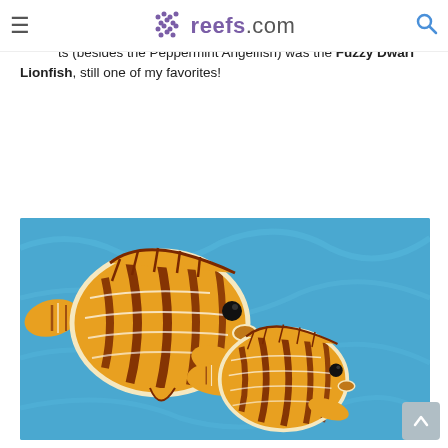reefs.com
techniques. This allowed me more options when it came to making certain fish come look more like the real fish. One of the first improvements (besides the Peppermint Angelfish) was the Fuzzy Dwarf Lionfish, still one of my favorites!
[Figure (photo): Two crocheted or needlework fish resembling Fuzzy Dwarf Lionfish, made with orange and dark brown yarn with white outline stitching, displayed on a blue crinkled fabric background.]